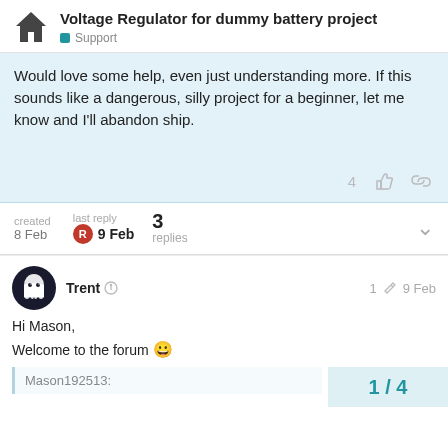Voltage Regulator for dummy battery project — Support
Would love some help, even just understanding more. If this sounds like a dangerous, silly project for a beginner, let me know and I'll abandon ship.
4 [likes] [link]
created 8 Feb   last reply R 9 Feb   3 replies   [expand]
Trent   1 [edit]   9 Feb
Hi Mason,
Welcome to the forum 😀
Mason192513:
1 / 4